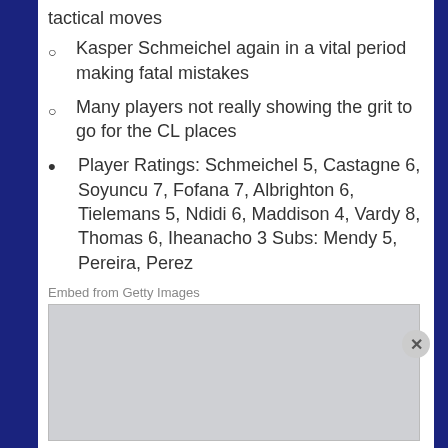tactical moves
Kasper Schmeichel again in a vital period making fatal mistakes
Many players not really showing the grit to go for the CL places
Player Ratings: Schmeichel 5, Castagne 6, Soyuncu 7, Fofana 7, Albrighton 6, Tielemans 5, Ndidi 6, Maddison 4, Vardy 8, Thomas 6, Iheanacho 3 Subs: Mendy 5, Pereira, Perez
Embed from Getty Images
[Figure (photo): Getty Images embedded photo placeholder]
Advertisements
[Figure (infographic): ULTA Beauty advertisement strip with makeup imagery and SHOP NOW call to action]